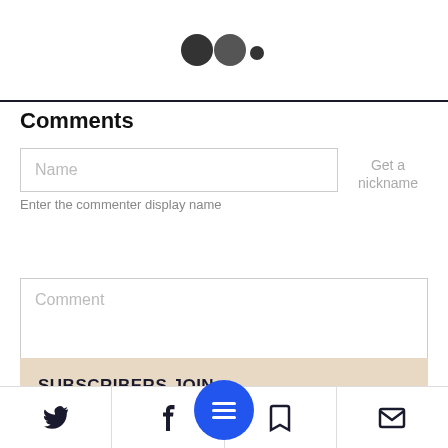[Figure (other): Loading spinner dots: two large dark circles and one small dark dot arranged horizontally]
Comments
[Figure (other): Name input field with placeholder text 'Name' and 'Get a nickname' link to the right]
Enter the commenter display name
[Figure (other): Comment text area with placeholder text 'Comment']
SUBSCRIBERS JOIN
[Figure (other): Bottom navigation bar with Twitter, Facebook, menu (blue circle), bookmark, and mail icons]